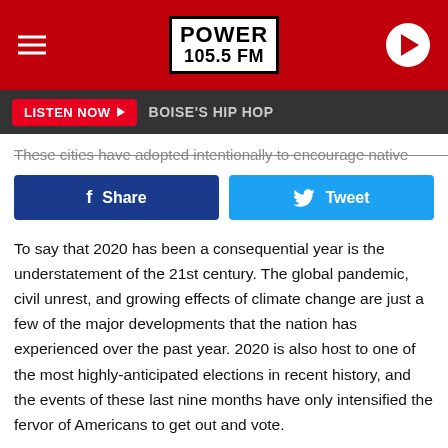[Figure (logo): Power 105.5 FM radio station header with red background, hamburger menu icon on left, Power 105.5 FM logo in center, play button on right]
LISTEN NOW  BOISE'S HIP HOP
These cities have adopted intentionally to encourage native...
f Share   Tweet
To say that 2020 has been a consequential year is the understatement of the 21st century. The global pandemic, civil unrest, and growing effects of climate change are just a few of the major developments that the nation has experienced over the past year. 2020 is also host to one of the most highly-anticipated elections in recent history, and the events of these last nine months have only intensified the fervor of Americans to get out and vote.
Earlier this year, it was uncertain whether the coronavirus...